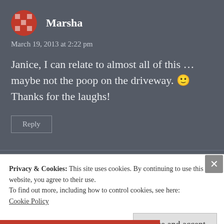Marsha
March 19, 2013 at 2:22 pm
Janice, I can relate to almost all of this … maybe not the poop on the driveway. 🙂 Thanks for the laughs!
Reply
Privacy & Cookies: This site uses cookies. By continuing to use this website, you agree to their use.
To find out more, including how to control cookies, see here:
Cookie Policy
Close and accept